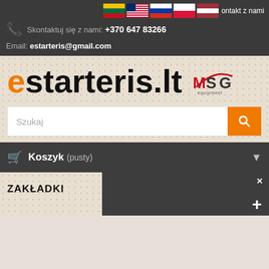Skontaktuj się z nami: +370 647 83266
Email: estarteris@gmail.com
[Figure (logo): estarteris.lt website logo with orange 'e' and black text, plus MSG equipment logo]
Szukaj
Koszyk (pusty)
ZAKŁADKI